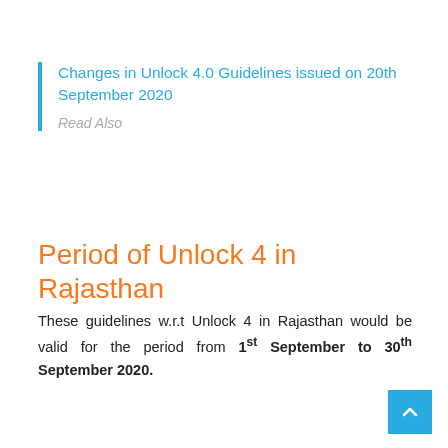Changes in Unlock 4.0 Guidelines issued on 20th September 2020
Read Also
Period of Unlock 4 in Rajasthan
These guidelines w.r.t Unlock 4 in Rajasthan would be valid for the period from 1st September to 30th September 2020.